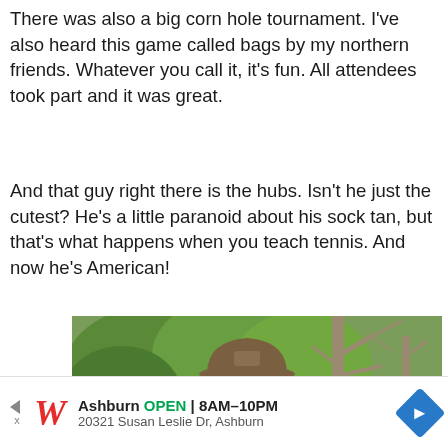There was also a big corn hole tournament. I've also heard this game called bags by my northern friends. Whatever you call it, it's fun. All attendees took part and it was great.
And that guy right there is the hubs. Isn't he just the cutest? He's a little paranoid about his sock tan, but that's what happens when you teach tennis. And now he's American!
[Figure (photo): A smiling man wearing a plaid shirt, sunglasses, and a brown cap, standing outdoors in front of green trees and bare branches.]
Ashburn OPEN | 8AM–10PM 20321 Susan Leslie Dr, Ashburn